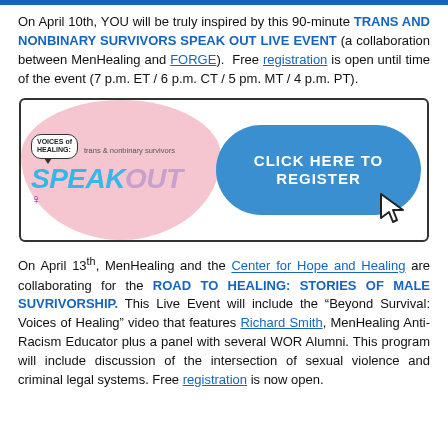On April 10th, YOU will be truly inspired by this 90-minute TRANS AND NONBINARY SURVIVORS SPEAK OUT LIVE EVENT (a collaboration between MenHealing and FORGE). Free registration is open until time of the event (7 p.m. ET / 6 p.m. CT / 5 pm. MT / 4 p.m. PT).
[Figure (infographic): Banner for 'Voices of Healing: trans & nonbinary survivors SPEAKOUT' event with a pink blob background on the left and a blue rounded button on the right reading 'CLICK HERE TO REGISTER' with a cursor icon.]
On April 13th, MenHealing and the Center for Hope and Healing are collaborating for the ROAD TO HEALING: STORIES OF MALE SUVRIVORSHIP. This Live Event will include the "Beyond Survival: Voices of Healing" video that features Richard Smith, MenHealing Anti-Racism Educator plus a panel with several WOR Alumni. This program will include discussion of the intersection of sexual violence and criminal legal systems. Free registration is now open.